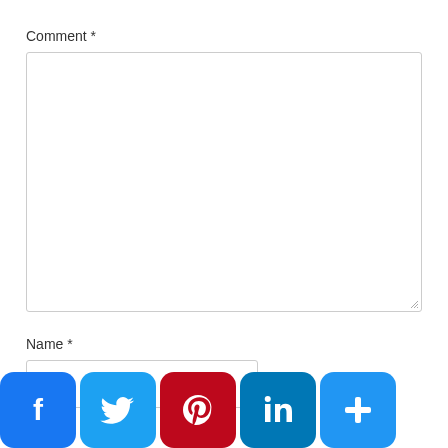Comment *
[Figure (screenshot): Empty comment textarea input box with resize handle in bottom-right corner]
Name *
[Figure (screenshot): Empty name text input field]
[Figure (infographic): Social sharing buttons: Facebook, Twitter, Pinterest, LinkedIn, and a plus/more button]